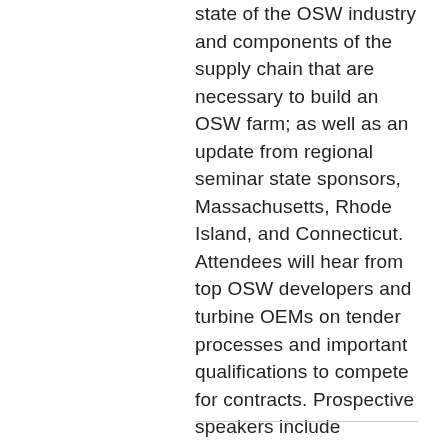state of the OSW industry and components of the supply chain that are necessary to build an OSW farm; as well as an update from regional seminar state sponsors, Massachusetts, Rhode Island, and Connecticut. Attendees will hear from top OSW developers and turbine OEMs on tender processes and important qualifications to compete for contracts. Prospective speakers include representatives from Vineyard Wind, Mayflower Wind, GE Renewable Energy, DEME Offshore US, with more to be announced soon!